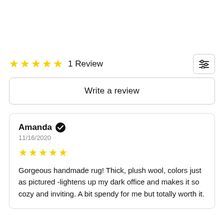★★★★★ 1 Review
Write a review
Amanda ✔
11/16/2020
★★★★★
Gorgeous handmade rug! Thick, plush wool, colors just as pictured -lightens up my dark office and makes it so cozy and inviting. A bit spendy for me but totally worth it.